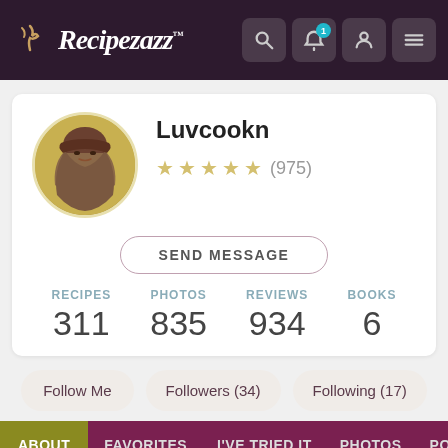Recipezazz
Luvcookn
(975) stars rating
SEND MESSAGE
RECIPES 311  PHOTOS 835  REVIEWS 934  BOOKS 6
Follow Me  Followers (34)  Following (17)
ABOUT  FAVORITES  I'VE TRIED IT  PHOTOS  POSTS  REC